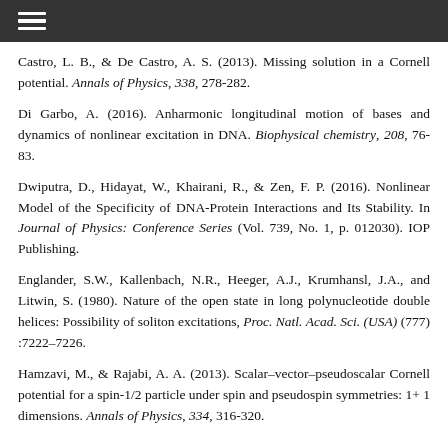Castro, L. B., & De Castro, A. S. (2013). Missing solution in a Cornell potential. Annals of Physics, 338, 278-282.
Di Garbo, A. (2016). Anharmonic longitudinal motion of bases and dynamics of nonlinear excitation in DNA. Biophysical chemistry, 208, 76-83.
Dwiputra, D., Hidayat, W., Khairani, R., & Zen, F. P. (2016). Nonlinear Model of the Specificity of DNA-Protein Interactions and Its Stability. In Journal of Physics: Conference Series (Vol. 739, No. 1, p. 012030). IOP Publishing.
Englander, S.W., Kallenbach, N.R., Heeger, A.J., Krumhansl, J.A., and Litwin, S. (1980). Nature of the open state in long polynucleotide double helices: Possibility of soliton excitations, Proc. Natl. Acad. Sci. (USA) (777) :7222–7226.
Hamzavi, M., & Rajabi, A. A. (2013). Scalar–vector–pseudoscalar Cornell potential for a spin-1/2 particle under spin and pseudospin symmetries: 1+ 1 dimensions. Annals of Physics, 334, 316-320.